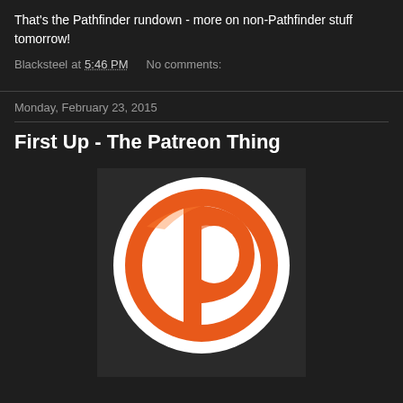That's the Pathfinder rundown - more on non-Pathfinder stuff tomorrow!
Blacksteel at 5:46 PM   No comments:
Monday, February 23, 2015
First Up - The Patreon Thing
[Figure (logo): Patreon logo: orange letter P with circular band on dark background]